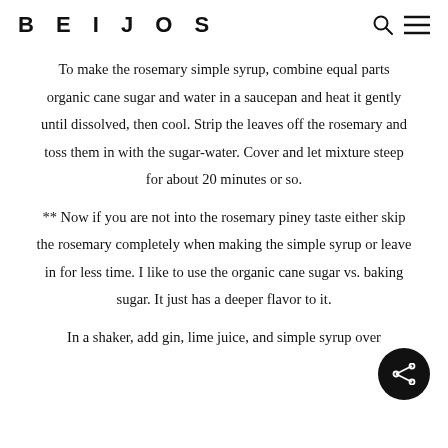BEIJOS
To make the rosemary simple syrup, combine equal parts organic cane sugar and water in a saucepan and heat it gently until dissolved, then cool. Strip the leaves off the rosemary and toss them in with the sugar-water. Cover and let mixture steep for about 20 minutes or so.
** Now if you are not into the rosemary piney taste either skip the rosemary completely when making the simple syrup or leave in for less time. I like to use the organic cane sugar vs. baking sugar. It just has a deeper flavor to it.
In a shaker, add gin, lime juice, and simple syrup over